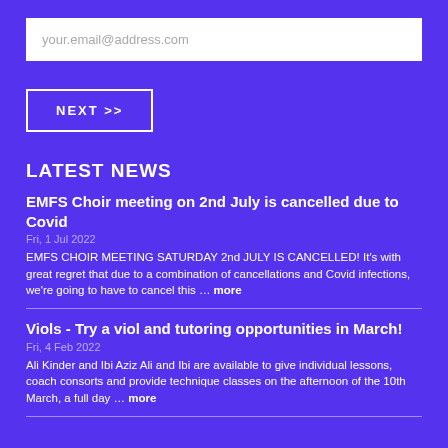your.email@address.com
NEXT >>
LATEST NEWS
EMFS Choir meeting on 2nd July is cancelled due to Covid
Fri, 1 Jul 2022
EMFS CHOIR MEETING SATURDAY 2nd JULY IS CANCELLED! It's with great regret that due to a combination of cancellations and Covid infections, we're going to have to cancel this … more
Viols - Try a viol and tutoring opportunities in March!
Fri, 4 Feb 2022
Ali Kinder and Ibi Aziz Ali and Ibi are available to give individual lessons, coach consorts and provide technique classes on the afternoon of the 10th March, a full day … more